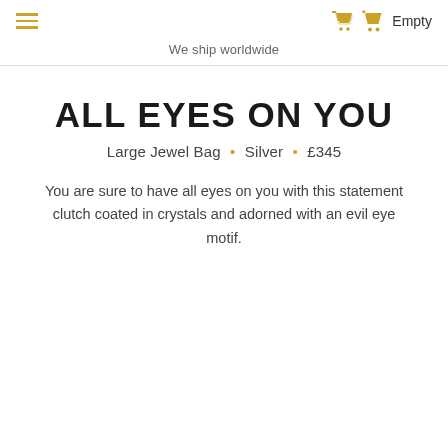We ship worldwide
ALL EYES ON YOU
Large Jewel Bag • Silver • £345
You are sure to have all eyes on you with this statement clutch coated in crystals and adorned with an evil eye motif.